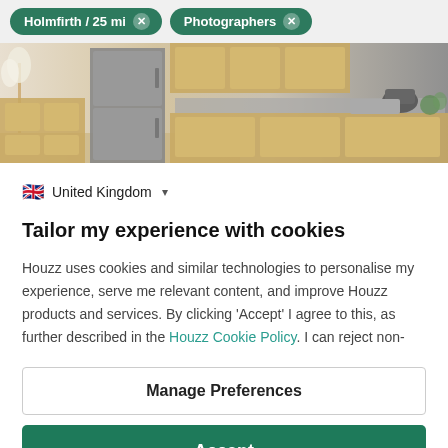Holmfirth / 25 mi  ×   Photographers  ×
[Figure (photo): Kitchen interior showing wooden cabinetry, a stainless steel refrigerator, countertop appliances including a kettle, and a potted orchid plant.]
🇬🇧 United Kingdom ▾
Tailor my experience with cookies
Houzz uses cookies and similar technologies to personalise my experience, serve me relevant content, and improve Houzz products and services. By clicking 'Accept' I agree to this, as further described in the Houzz Cookie Policy. I can reject non-
Manage Preferences
Accept